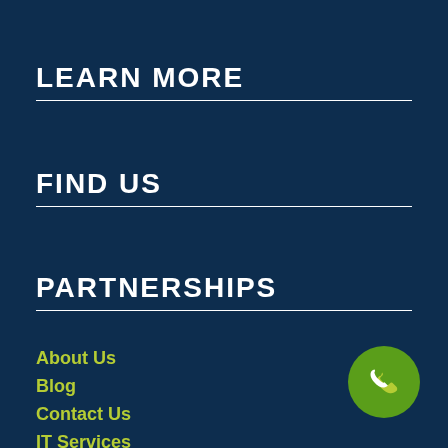LEARN MORE
FIND US
PARTNERSHIPS
About Us
Blog
Contact Us
IT Services
Managed IT Support
[Figure (illustration): Green circular phone/call button icon in bottom right corner]